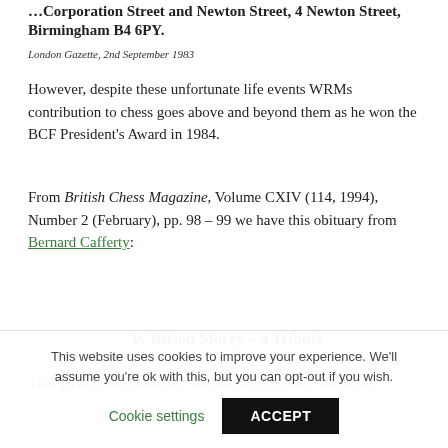…Corporation Street and Newton Street, 4 Newton Street, Birmingham B4 6PY.
London Gazette, 2nd September 1983
However, despite these unfortunate life events WRMs contribution to chess goes above and beyond them as he won the BCF President's Award in 1984.
From British Chess Magazine, Volume CXIV (114, 1994), Number 2 (February), pp. 98 – 99 we have this obituary from Bernard Cafferty:
W Ritson Morry – a Tribute
That great chess character, known to everybody simply as
This website uses cookies to improve your experience. We'll assume you're ok with this, but you can opt-out if you wish.